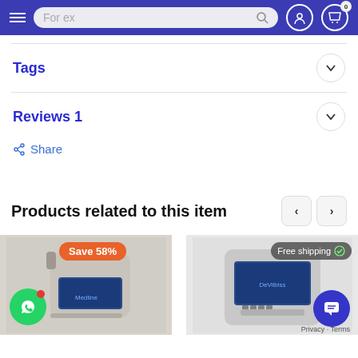Navigation header with hamburger menu, search bar 'For ex', user icon, and cart icon with badge 0
Tags
Reviews 1
Share
Products related to this item
[Figure (photo): Two medical product images: left shows a portable oxygen concentrator with 'Save 58%' badge; right shows another medical device with 'Free shipping' badge. WhatsApp floating button on lower left, chat button on lower right.]